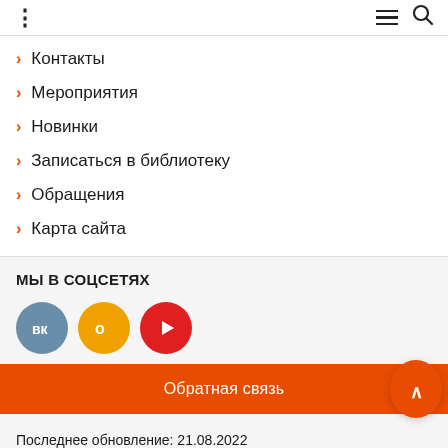⋮  ≡ 🔍
Контакты
Мероприятия
Новинки
Записаться в библиотеку
Обращения
Карта сайта
МЫ В СОЦСЕТЯХ
[Figure (illustration): Three social media icons: VK (blue circle), Odnoklassniki (orange circle), YouTube (red circle)]
Обратная связь
Последнее обновление: 21.08.2022